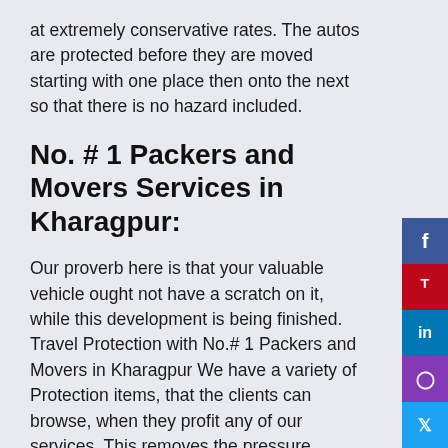at extremely conservative rates. The autos are protected before they are moved starting with one place then onto the next so that there is no hazard included.
No. # 1 Packers and Movers Services in Kharagpur:
Our proverb here is that your valuable vehicle ought not have a scratch on it, while this development is being finished. Travel Protection with No.# 1 Packers and Movers in Kharagpur We have a variety of Protection items, that the clients can browse, when they profit any of our services. This removes the pressure totally from any sort of development. Other than these services we likewise attempt Load development employments, regardless of how huge or little. We have the